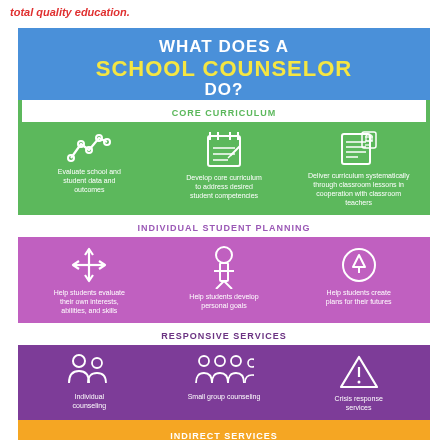total quality education.
[Figure (infographic): Infographic titled 'What Does A School Counselor Do?' showing four sections: Core Curriculum (green) with icons for evaluating data, developing curriculum, delivering lessons; Individual Student Planning (purple) with icons for evaluating interests, developing goals, creating future plans; Responsive Services (dark purple) with icons for individual counseling, small group counseling, crisis response; Indirect Services (orange/yellow) at bottom.]